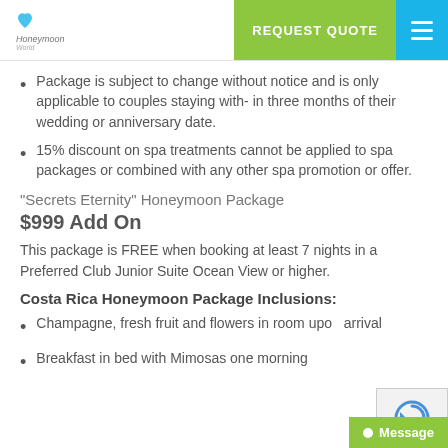REQUEST QUOTE | Menu
Package is subject to change without notice and is only applicable to couples staying with- in three months of their wedding or anniversary date.
15% discount on spa treatments cannot be applied to spa packages or combined with any other spa promotion or offer.
“Secrets Eternity” Honeymoon Package
$999 Add On
This package is FREE when booking at least 7 nights in a Preferred Club Junior Suite Ocean View or higher.
Costa Rica Honeymoon Package Inclusions:
Champagne, fresh fruit and flowers in room upon arrival
Breakfast in bed with Mimosas one morning